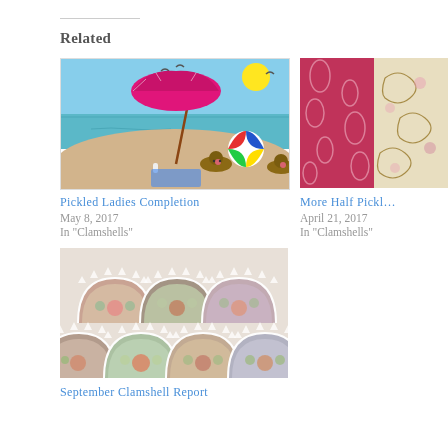Related
[Figure (illustration): Beach scene illustration with pink umbrella, colorful beach ball, sunbathers and seabirds]
Pickled Ladies Completion
May 8, 2017
In "Clamshells"
[Figure (photo): Close-up photo of red and cream floral fabric swatches]
More Half Pickl…
April 21, 2017
In "Clamshells"
[Figure (photo): Clamshell quilt pattern with floral fabrics arranged in overlapping fan shapes]
September Clamshell Report